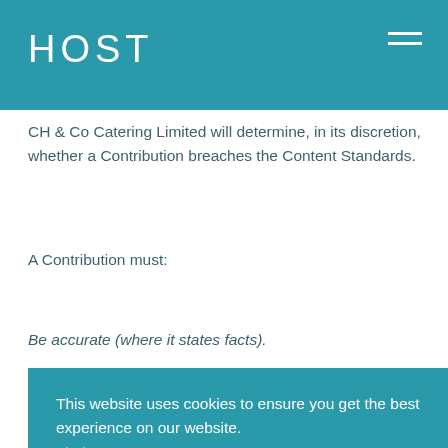HOST
CH & Co Catering Limited will determine, in its discretion, whether a Contribution breaches the Content Standards.
A Contribution must:
Be accurate (where it states facts).
This website uses cookies to ensure you get the best experience on our website.
Find out more
ACCEPT